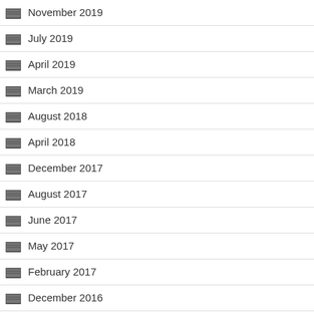November 2019
July 2019
April 2019
March 2019
August 2018
April 2018
December 2017
August 2017
June 2017
May 2017
February 2017
December 2016
October 2016